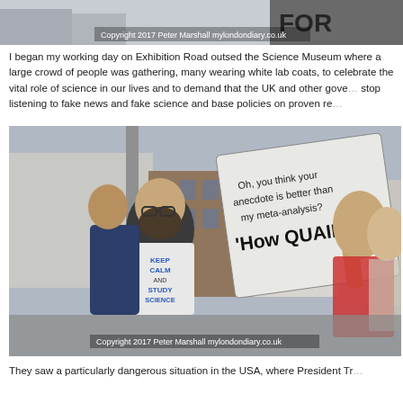[Figure (photo): Top cropped photo showing a protest banner partially visible, with copyright watermark 'Copyright 2017 Peter Marshall mylondondiary.co.uk']
I began my working day on Exhibition Road outsed the Science Museum where a large crowd of people was gathering, many wearing white lab coats, to celebrate the vital role of science in our lives and to demand that the UK and other gove... stop listening to fake news and fake science and base policies on proven re...
[Figure (photo): A man wearing a 'Keep Calm and Study Science' t-shirt holds a protest sign reading 'Oh, you think your anecdote is better than my meta-analysis? HOW QUAINT!' at a street protest. Copyright 2017 Peter Marshall mylondondiary.co.uk]
They saw a particularly dangerous situation in the USA, where President Tr...